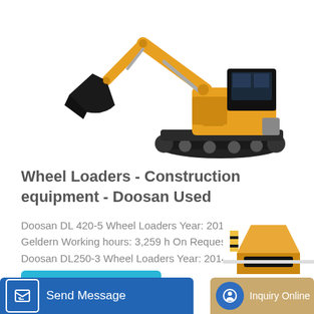[Figure (photo): Yellow and black Doosan excavator/wheel loader construction equipment on white background, showing full machine with bucket arm extended]
Wheel Loaders - Construction equipment - Doosan Used
Doosan DL 420-5 Wheel Loaders Year: 2015 Germany Geldern Working hours: 3,259 h On Request View product: Doosan DL250-3 Wheel Loaders Year: 2014 Germany...
Learn More
Send Message
Inquiry Online